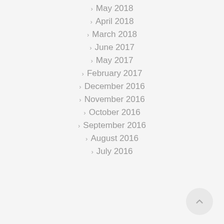May 2018
April 2018
March 2018
June 2017
May 2017
February 2017
December 2016
November 2016
October 2016
September 2016
August 2016
July 2016